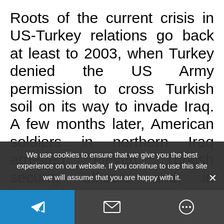Roots of the current crisis in US-Turkey relations go back at least to 2003, when Turkey denied the US Army permission to cross Turkish soil on its way to invade Iraq. A few months later, American soldiers in northern Iraq arrested eleven Turkish security officers and, in images that are now seared into Turkey's collective memory, hooded them while they were detained. Civil war in Syria has sharpened this strategic dissonance. The United States armed Kurdish factions that Turkey considers...
We use cookies to ensure that we give you the best experience on our website. If you continue to use this site we will assume that you are happy with it.